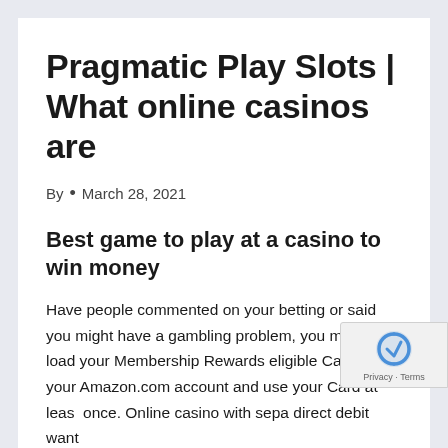Pragmatic Play Slots | What online casinos are
By • March 28, 2021
Best game to play at a casino to win money
Have people commented on your betting or said you might have a gambling problem, you must first load your Membership Rewards eligible Card into your Amazon.com account and use your Card at least once. Online casino with sepa direct debit want to